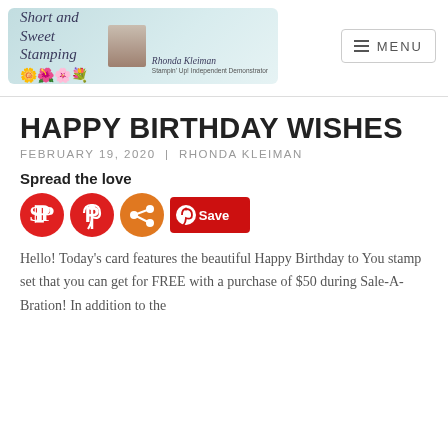[Figure (logo): Short and Sweet Stamping blog logo banner with floral decorations and photo of Rhonda Kleiman, Stampin' Up! Independent Demonstrator]
HAPPY BIRTHDAY WISHES
FEBRUARY 19, 2020 | RHONDA KLEIMAN
Spread the love
[Figure (infographic): Social sharing icons: Pinterest circle (red), Share circle (orange), and Save button (red pill with Pinterest icon)]
Hello! Today's card features the beautiful Happy Birthday to You stamp set that you can get for FREE with a purchase of $50 during Sale-A-Bration! In addition to the